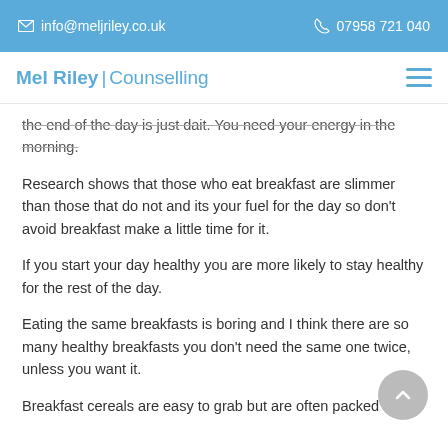info@meljriley.co.uk   07958 721 040
Mel Riley | Counselling
the end of the day is just daft. You need your energy in the morning.
Research shows that those who eat breakfast are slimmer than those that do not and its your fuel for the day so don't avoid breakfast make a little time for it.
If you start your day healthy you are more likely to stay healthy for the rest of the day.
Eating the same breakfasts is boring and I think there are so many healthy breakfasts you don't need the same one twice, unless you want it.
Breakfast cereals are easy to grab but are often packed with